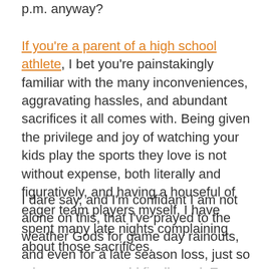p.m. anyway?
If you're a parent of a high school athlete, I bet you're painstakingly familiar with the many inconveniences, aggravating hassles, and abundant sacrifices it all comes with. Being given the privilege and joy of watching your kids play the sports they love is not without expense, both literally and figuratively, and having a houseful of eager team players myself, I have spent many late nights complaining about those sacrifices.
I dare say, and I'm confidant I am not alone on this, that I've prayed to the weather Gods for game day rainouts, and even for a late season loss, just so a long season could finally end. Even the most eager sports parents, coaches, and players grow weary of